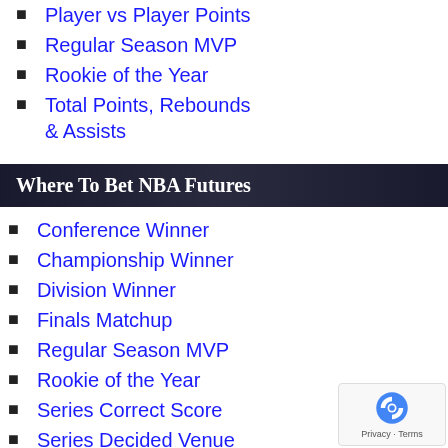Player vs Player Points
Regular Season MVP
Rookie of the Year
Total Points, Rebounds & Assists
Where To Bet NBA Futures
Conference Winner
Championship Winner
Division Winner
Finals Matchup
Regular Season MVP
Rookie of the Year
Series Correct Score
Series Decided Venue
Series Game Spread
Series Winner
Total Games Played